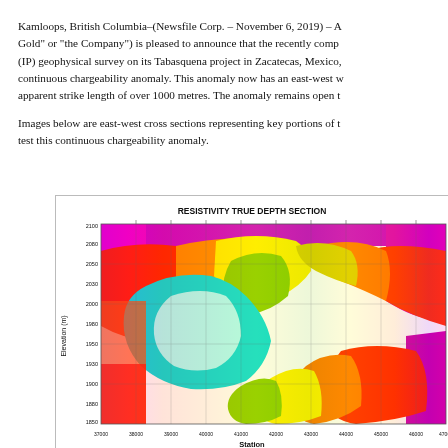Kamloops, British Columbia–(Newsfile Corp. – November 6, 2019) – A... Gold" or "the Company") is pleased to announce that the recently comp... (IP) geophysical survey on its Tabasquena project in Zacatecas, Mexico,... continuous chargeability anomaly. This anomaly now has an east-west w... apparent strike length of over 1000 metres. The anomaly remains open t...
Images below are east-west cross sections representing key portions of t... test this continuous chargeability anomaly.
[Figure (continuous-plot): Resistivity True Depth Section showing a colorful geophysical cross-section with elevation (m) on the y-axis ranging from approximately 1700 to 2100m, and Station on the x-axis ranging from approximately 37000 to 47000. The color scale ranges from cyan/blue (low resistivity) through green, yellow, orange, red to magenta/pink (high resistivity). A prominent low-resistivity (cyan/blue) anomaly is visible in the central-left portion of the section.]